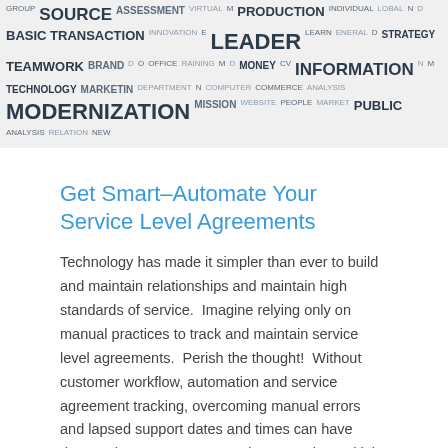[Figure (infographic): Word cloud banner with business and technology terms in various sizes and shades of dark gray on a light gray background. Words include: GROUP, SOURCE, VIRTUAL, PRODUCTION, INDIVIDUAL, GLOBAL, BASIC TRANSACTION, INNOVATION, LEADER, LEARN, GENERAL, STRATEGY, TEAMWORK, BRAND, OFFICE, TRAINING, MONEY, CV, INFORMATION, TECHNOLOGY, MARKETING, DEPARTMENT, COMMERCE, MODERNIZATION, MISSION, WEBSITE, PEOPLE, COMPUTER, MARKET, PUBLIC, NEW RELATION]
Get Smart–Automate Your Service Level Agreements
Technology has made it simpler than ever to build and maintain relationships and maintain high standards of service.  Imagine relying only on manual practices to track and maintain service level agreements.  Perish the thought!  Without customer workflow, automation and service agreement tracking, overcoming manual errors and lapsed support dates and times can have devastating consequences. There may be multiple sources of service requests: phone, email, even hand-written notes from other employees. It's easy […]